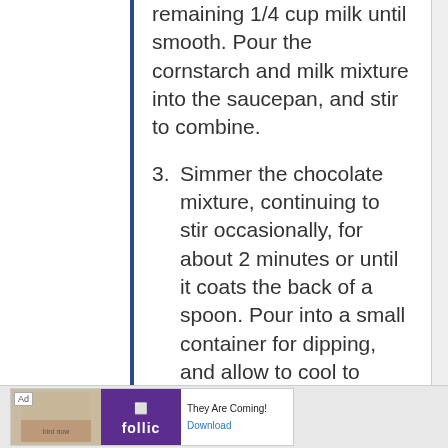remaining 1/4 cup milk until smooth. Pour the cornstarch and milk mixture into the saucepan, and stir to combine.
3. Simmer the chocolate mixture, continuing to stir occasionally, for about 2 minutes or until it coats the back of a spoon. Pour into a small container for dipping, and allow to cool to room temperature before serving. The sauce will thicken as it cools.